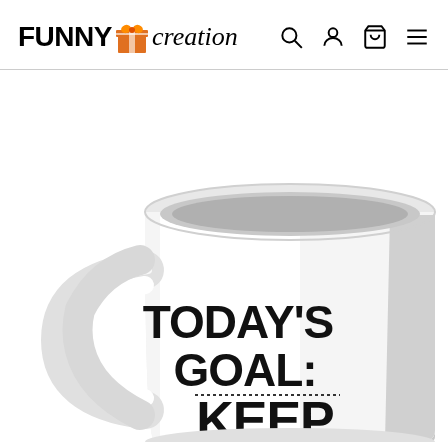FUNNY creation [logo with gift icon, search, account, cart, menu icons]
[Figure (photo): White ceramic coffee mug with bold black text reading TODAY'S GOAL: KEEP... The mug is shown at an angle with the handle on the left side, on a white background.]